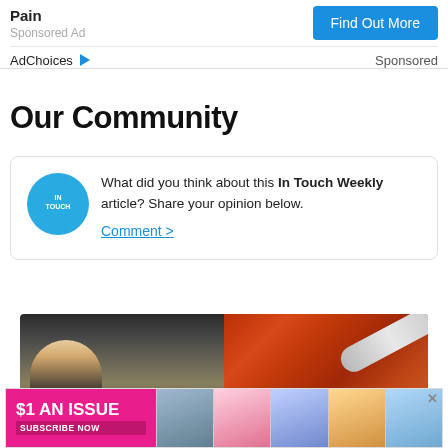Pain
Sponsored Ad
Find Out More
AdChoices ▷  Sponsored
Our Community
What did you think about this In Touch Weekly article? Share your opinion below.
Comment >
[Figure (photo): Left half: woman with athletic build carrying child; Right half: spoon with red/orange spice powder, close-up]
[Figure (infographic): Bottom banner ad: $1 AN ISSUE - SUBSCRIBE NOW with magazine cover images]